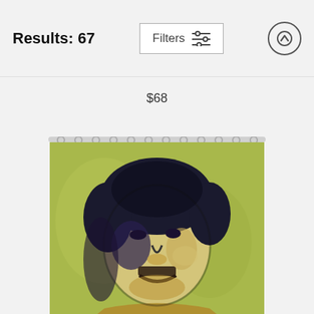Results: 67
$68
[Figure (photo): A shower curtain featuring a pop-art style portrait of a man with dark hair on a green background, hung on a curtain rod with rings.]